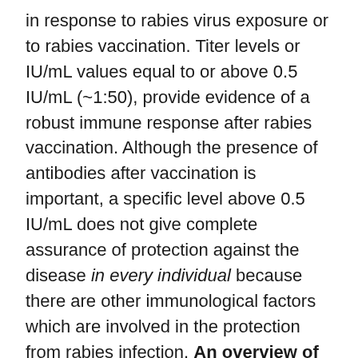in response to rabies virus exposure or to rabies vaccination. Titer levels or IU/mL values equal to or above 0.5 IU/mL (~1:50), provide evidence of a robust immune response after rabies vaccination. Although the presence of antibodies after vaccination is important, a specific level above 0.5 IU/mL does not give complete assurance of protection against the disease in every individual because there are other immunological factors which are involved in the protection from rabies infection. An overview of rabies challenge studies indicates RVNA levels predict survival on more a qualitative rather than quantitative basis...